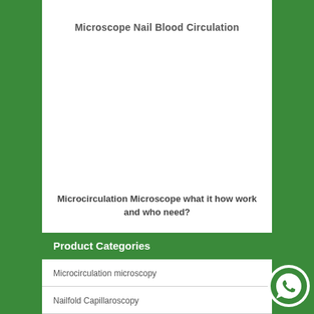Microscope Nail Blood Circulation
Microcirculation Microscope what it how work and who need?
Product Categories
Microcirculation microscopy
Nailfold Capillaroscopy